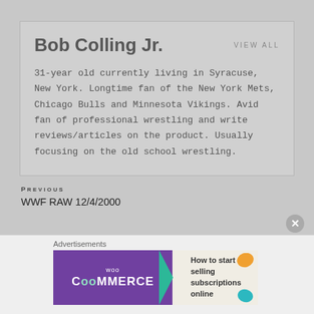Bob Colling Jr.
VIEW ALL
31-year old currently living in Syracuse, New York. Longtime fan of the New York Mets, Chicago Bulls and Minnesota Vikings. Avid fan of professional wrestling and write reviews/articles on the product. Usually focusing on the old school wrestling.
PREvious
WWF RAW 12/4/2000
NEXT
WWF RAW 12/18/2000
Advertisements
[Figure (other): WooCommerce advertisement banner: purple background with WooCommerce logo and arrow, text 'How to start selling subscriptions online']